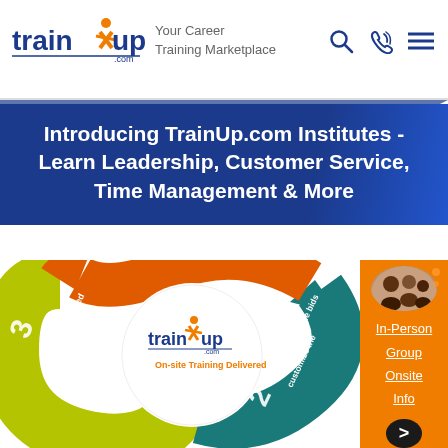[Figure (logo): TrainUp.com logo with orange figure and blue text]
Your Career
Training Marketplace
Introducing TrainUp.com Institutes - Learn Leadership, Customer Service, Time Management & More
[Figure (infographic): Circular arrow infographic showing On-site Training Delivered process with 3 steps: step 2 Receive multiple bids customize the, step 3 Training delivered at your facility, center shows TrainUp.com logo]
In-Person
Group
Onsite
Info